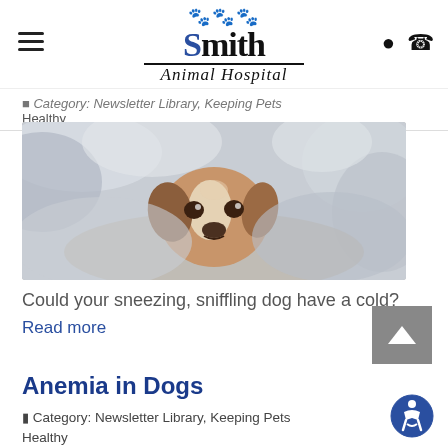[Figure (logo): Smith Animal Hospital logo with paw prints, bold 'Smith' text, and italic 'Animal Hospital' text beneath]
Category: Newsletter Library, Keeping Pets Healthy
[Figure (photo): A dog wrapped in a gray blanket, looking up with sad eyes]
Could your sneezing, sniffling dog have a cold?
Read more
Anemia in Dogs
Category: Newsletter Library, Keeping Pets Healthy